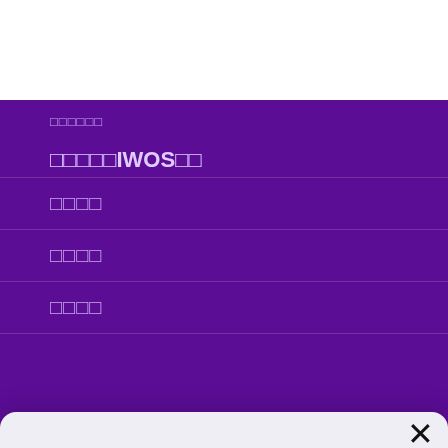[Figure (screenshot): Hamburger menu icon (three horizontal purple lines) in top-left of white header bar]
[Figure (screenshot): Search icon (magnifying glass) in top-right of white header bar]
□□□□□IWOS□□
□□□□
□□□□
□□□□
In order to provide you with the best service, we use cookies to store information about your visit. By using our site, you agree to the placement of cookies on your device. For further information, please check our Data Privacy Declaration.
Accept
Cookie Policy   Data Privacy Declaration